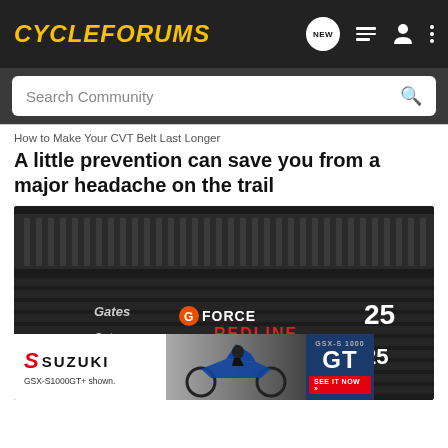[Figure (screenshot): CycleForums website navigation bar with logo, NEW button, list icon, person icon, and three-dot menu]
Search Community
How to Make Your CVT Belt Last Longer
A little prevention can save you from a major headache on the trail
[Figure (photo): Close-up photo of a GForce Redline CVT belt showing the ribbed black rubber belt with red and white logo text reading 'GFORCE REDLINE' and the number '25']
[Figure (other): Suzuki GSX-S1000GT advertisement banner showing the Suzuki logo, a motorcycle photo, 'GT' text on blue background, and 'SEE IT NOW' button]